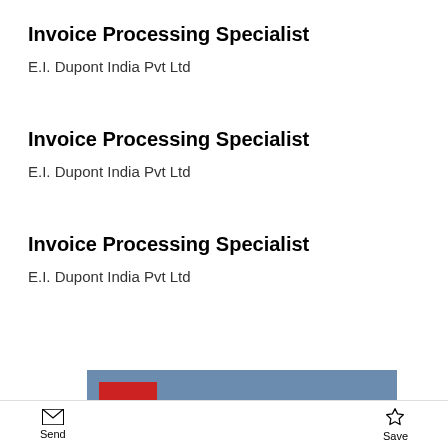Invoice Processing Specialist
E.I. Dupont India Pvt Ltd
Invoice Processing Specialist
E.I. Dupont India Pvt Ltd
Invoice Processing Specialist
E.I. Dupont India Pvt Ltd
[Figure (photo): ACCA logo on blue-grey background with partial view of a white helmet]
Send   Save